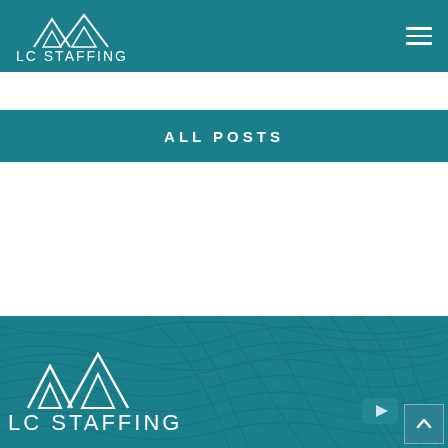LC STAFFING
ALL POSTS
[Figure (logo): LC Staffing footer logo with mountain peaks icon and topographic map background pattern]
LC STAFFING